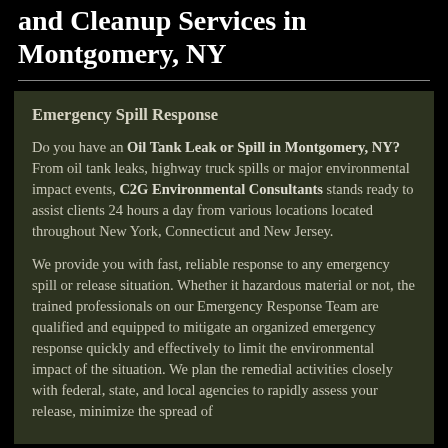and Cleanup Services in Montgomery, NY
Emergency Spill Response
Do you have an Oil Tank Leak or Spill in Montgomery, NY? From oil tank leaks, highway truck spills or major environmental impact events, C2G Environmental Consultants stands ready to assist clients 24 hours a day from various locations located throughout New York, Connecticut and New Jersey.
We provide you with fast, reliable response to any emergency spill or release situation. Whether it hazardous material or not, the trained professionals on our Emergency Response Team are qualified and equipped to mitigate an organized emergency response quickly and effectively to limit the environmental impact of the situation. We plan the remedial activities closely with federal, state, and local agencies to rapidly assess your release, minimize the spread of